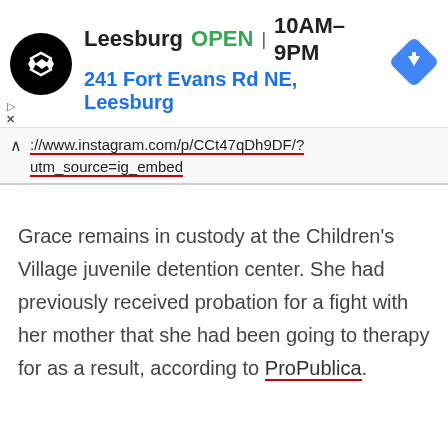[Figure (screenshot): Advertisement banner for a store in Leesburg. Shows a black circular logo with double arrow symbol, text reading 'Leesburg OPEN 10AM–9PM' and '241 Fort Evans Rd NE, Leesburg', and a blue diamond navigation arrow icon.]
://www.instagram.com/p/CCt47qDh9DF/?
utm_source=ig_embed
Grace remains in custody at the Children's Village juvenile detention center. She had previously received probation for a fight with her mother that she had been going to therapy for as a result, according to ProPublica.